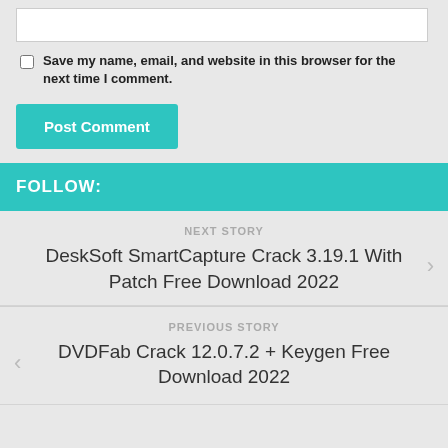[textarea input box]
Save my name, email, and website in this browser for the next time I comment.
Post Comment
FOLLOW:
NEXT STORY
DeskSoft SmartCapture Crack 3.19.1 With Patch Free Download 2022
PREVIOUS STORY
DVDFab Crack 12.0.7.2 + Keygen Free Download 2022